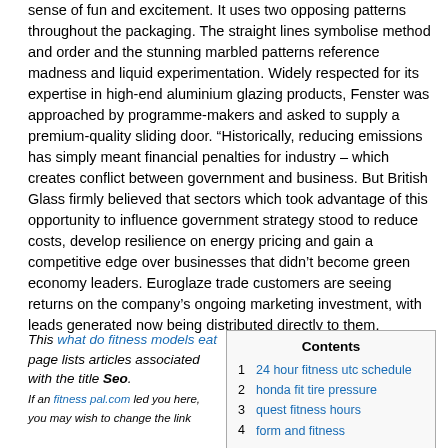sense of fun and excitement. It uses two opposing patterns throughout the packaging. The straight lines symbolise method and order and the stunning marbled patterns reference madness and liquid experimentation. Widely respected for its expertise in high-end aluminium glazing products, Fenster was approached by programme-makers and asked to supply a premium-quality sliding door. “Historically, reducing emissions has simply meant financial penalties for industry – which creates conflict between government and business. But British Glass firmly believed that sectors which took advantage of this opportunity to influence government strategy stood to reduce costs, develop resilience on energy pricing and gain a competitive edge over businesses that didn’t become green economy leaders. Euroglaze trade customers are seeing returns on the company’s ongoing marketing investment, with leads generated now being distributed directly to them.
This what do fitness models eat page lists articles associated with the title Seo. If an fitness pal.com led you here, you may wish to change the link
| Contents |
| --- |
| 1 | 24 hour fitness utc schedule |
| 2 | honda fit tire pressure |
| 3 | quest fitness hours |
| 4 | form and fitness |